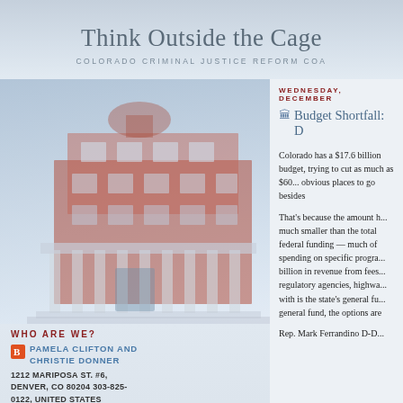Think Outside the Cage
COLORADO CRIMINAL JUSTICE REFORM COALITION
WEDNESDAY, DECEMBER
Budget Shortfall: D...
Colorado has a $17.6 billion budget, trying to cut as much as $60... obvious places to go besides...
That's because the amount h... much smaller than the total... federal funding — much of... spending on specific progra... billion in revenue from fees... regulatory agencies, highwa... with is the state's general fu... general fund, the options are...
Rep. Mark Ferrandino D-D...
WHO ARE WE?
PAMELA CLIFTON AND CHRISTIE DONNER
1212 MARIPOSA ST. #6, DENVER, CO 80204 303-825-0122, UNITED STATES
Christie Donner, Executive Director Pamela Clifton Communications Coordinator Juston Cooper Deputy Director Terri Hurst Policy